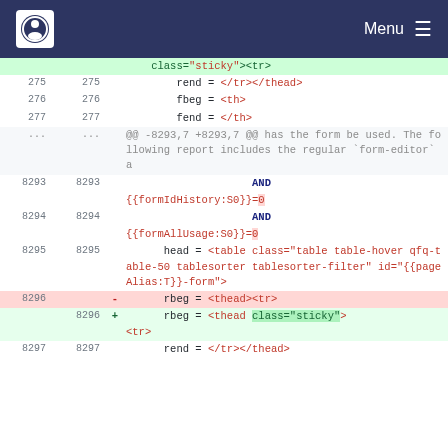Menu
class="sticky"><tr>
275  275      rend = </tr></thead>
276  276      fbeg = <th>
277  277      fend = </th>
...  ...  @@ -8293,7 +8293,7 @@ has the form be used. The following report includes the regular `form-editor` a
8293 8293              AND
{{formIdHistory:S0}}=0
8294 8294              AND
{{formAllUsage:S0}}=0
8295 8295      head = <table class="table table-hover qfq-table-50 tablesorter tablesorter-filter" id="{{pageAlias:T}}-form">
8296       -  rbeg = <thead><tr>
     8296  +  rbeg = <thead class="sticky"> <tr>
8297 8297      rend = </tr></thead>